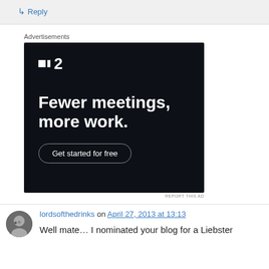↳ Reply
Advertisements
[Figure (other): Advertisement for F2 (Fewer meetings, more work) with a dark background and 'Get started for free' button]
REPORT THIS AD
lordsofthedrinks on April 27, 2013 at 13:13
Well mate… I nominated your blog for a Liebster